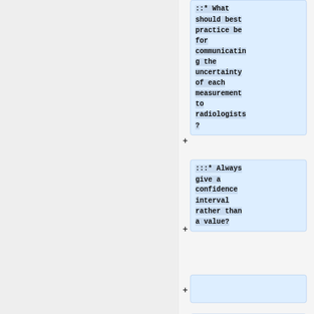::* What should best practice be for communicating the uncertainty of each measurement to radiologists?
:::* Always give a confidence interval rather than a value?
====On-